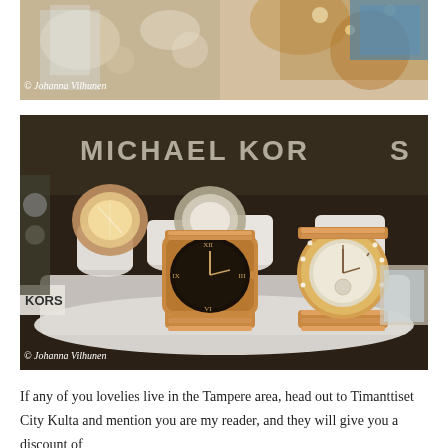[Figure (photo): Top photo: close-up of jewelry display with gold/rose gold accessories on a light background, blurry/bokeh style]
© Johanna Vilhunen
[Figure (photo): Bottom photo: Michael Kors watch display in a retail store. Multiple rose-gold watches on white display stands with 'MICHAEL KORS' text visible in background. 'KORS' label visible on left side.]
© Johanna Vilhunen
If any of you lovelies live in the Tampere area, head out to Timanttiset City Kulta and mention you are my reader, and they will give you a discount of